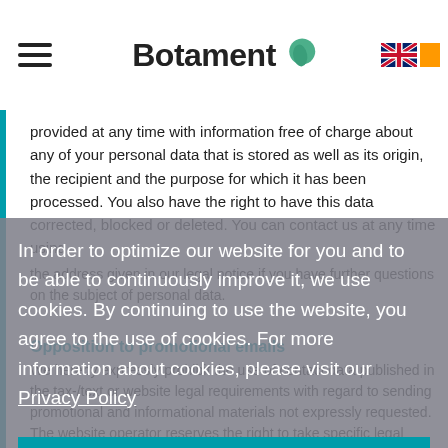Botament
provided at any time with information free of charge about any of your personal data that is stored as well as its origin, the recipient and the purpose for which it has been processed. You also have the right to have this data corrected, blocked or deleted. You can contact us at any time using the address given in our legal notice if you have further questions on the subject of personal data.
Opposition to promotional emails
We hereby expressly prohibit the use of contact data published in the tax-/text or website legal requirements with regard to sending promotional and informational materials not expressly requested. The website operator reserves the right to take specific legal action if unsolicited advertising material, such as email spam, is received.
In order to optimize our website for you and to be able to continuously improve it, we use cookies. By continuing to use the website, you agree to the use of cookies. For more information about cookies, please visit our Privacy Policy